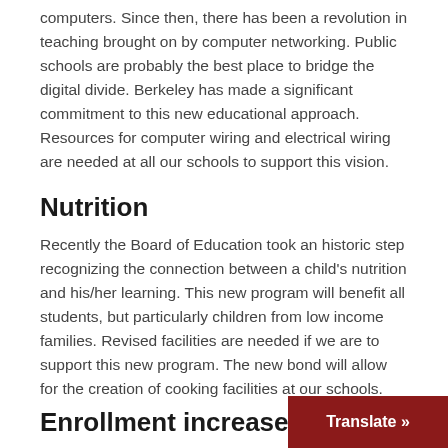computers. Since then, there has been a revolution in teaching brought on by computer networking. Public schools are probably the best place to bridge the digital divide. Berkeley has made a significant commitment to this new educational approach. Resources for computer wiring and electrical wiring are needed at all our schools to support this vision.
Nutrition
Recently the Board of Education took an historic step recognizing the connection between a child's nutrition and his/her learning. This new program will benefit all students, but particularly children from low income families. Revised facilities are needed if we are to support this new program. The new bond will allow for the creation of cooking facilities at our schools.
Enrollment increase